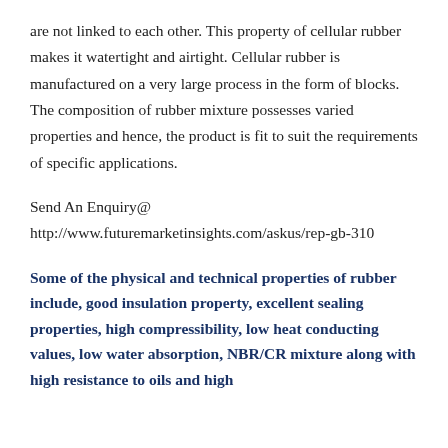are not linked to each other. This property of cellular rubber makes it watertight and airtight. Cellular rubber is manufactured on a very large process in the form of blocks. The composition of rubber mixture possesses varied properties and hence, the product is fit to suit the requirements of specific applications.
Send An Enquiry@ http://www.futuremarketinsights.com/askus/rep-gb-310
Some of the physical and technical properties of rubber include, good insulation property, excellent sealing properties, high compressibility, low heat conducting values, low water absorption, NBR/CR mixture along with high resistance to oils and high